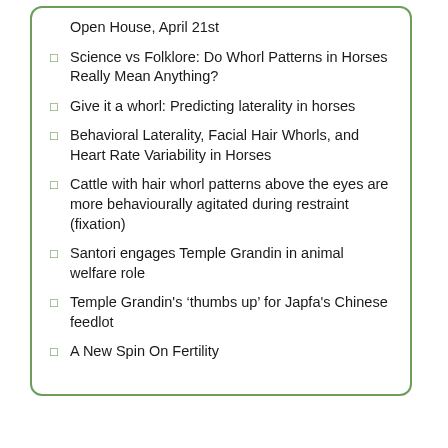Open House, April 21st
Science vs Folklore: Do Whorl Patterns in Horses Really Mean Anything?
Give it a whorl: Predicting laterality in horses
Behavioral Laterality, Facial Hair Whorls, and Heart Rate Variability in Horses
Cattle with hair whorl patterns above the eyes are more behaviourally agitated during restraint (fixation)
Santori engages Temple Grandin in animal welfare role
Temple Grandin's ‘thumbs up’ for Japfa's Chinese feedlot
A New Spin On Fertility